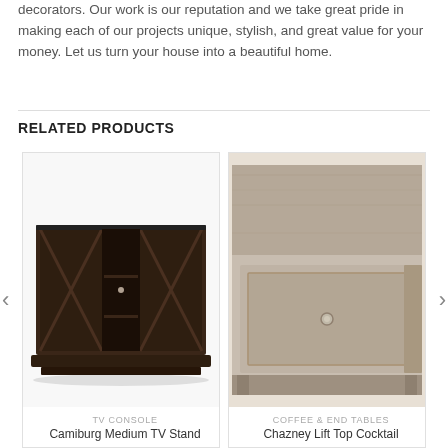decorators. Our work is our reputation and we take great pride in making each of our projects unique, stylish, and great value for your money. Let us turn your house into a beautiful home.
RELATED PRODUCTS
[Figure (photo): Dark brown TV console with barn-style sliding doors and open shelving in the center]
TV CONSOLE
Camiburg Medium TV Stand
[Figure (photo): Close-up of a light gray/taupe lift-top cocktail table with a center drawer and metal knob]
COFFEE & END TABLES
Chazney Lift Top Cocktail